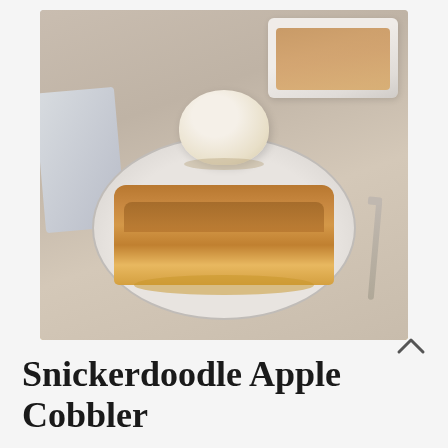[Figure (photo): A serving of apple cobbler with a scoop of vanilla ice cream on a light gray plate, with a baking dish visible in the background and a fork to the right, on a light beige surface with a gray cloth napkin to the left.]
Snickerdoodle Apple Cobbler
Lori Vaughn
With browned butter in the filling and a snickerdoodle cookie topping, this recipe is